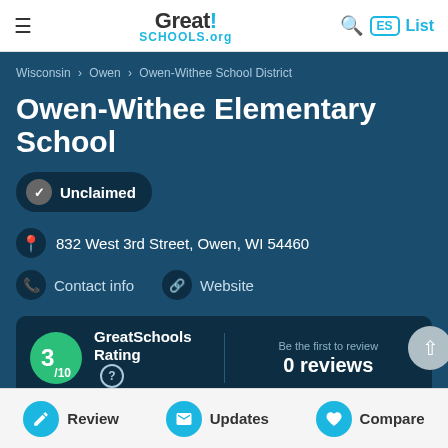Great!SCHOOLS.org
Wisconsin › Owen › Owen-Withee School District
Owen-Withee Elementary School
Unclaimed
832 West 3rd Street, Owen, WI 54460
Contact info    Website
GreatSchools Rating  3/10  Be the first to review  0 reviews
Public school   266 Students   Grades PK-6
Review   Updates   Compare